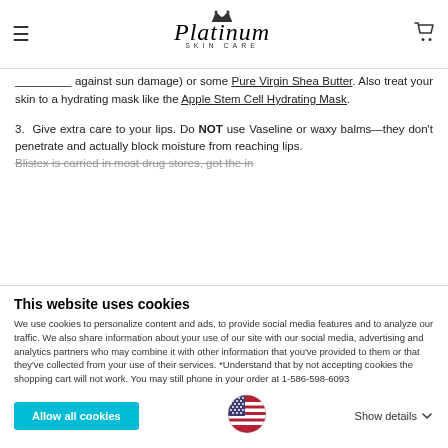Platinum Skin Care
against sun damage) or some Pure Virgin Shea Butter. Also treat your skin to a hydrating mask like the Apple Stem Cell Hydrating Mask.
3. Give extra care to your lips. Do NOT use Vaseline or waxy balms—they don't penetrate and actually block moisture from reaching lips.
Blistex is carried in most drug stores, get the in...
This website uses cookies
We use cookies to personalize content and ads, to provide social media features and to analyze our traffic. We also share information about your use of our site with our social media, advertising and analytics partners who may combine it with other information that you've provided to them or that they've collected from your use of their services. *Understand that by not accepting cookies the shopping cart will not work. You may still phone in your order at 1-586-598-6093
Allow all cookies
Show details